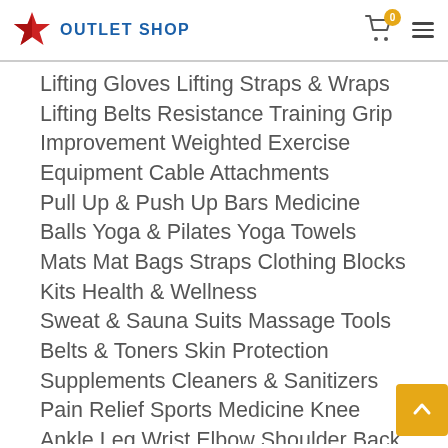OUTLET SHOP
Lifting Gloves Lifting Straps & Wraps Lifting Belts Resistance Training Grip Improvement Weighted Exercise Equipment Cable Attachments Pull Up & Push Up Bars Medicine Balls Yoga & Pilates Yoga Towels Mats Mat Bags Straps Clothing Blocks Kits Health & Wellness Sweat & Sauna Suits Massage Tools Belts & Toners Skin Protection Supplements Cleaners & Sanitizers Pain Relief Sports Medicine Knee Ankle Leg Wrist Elbow Shoulder Back Thigh & Groin Arm Compression Gear Shorts Tights Long Sleeve Socks & Leggings Guards & Sleeves Supporters & Cups Protective Cups Fitness Accessories Jump Ropes Abs & Core Training Foam Rollers Workout